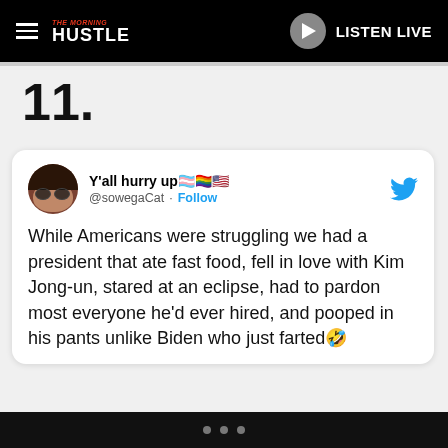THE MORNING HUSTLE — LISTEN LIVE
11.
[Figure (screenshot): Tweet from @sowegaCat (Y'all hurry up 🏳️‍⚧️🏳️‍🌈🇺🇸) reading: While Americans were struggling we had a president that ate fast food, fell in love with Kim Jong-un, stared at an eclipse, had to pardon most everyone he'd ever hired, and pooped in his pants unlike Biden who just farted🤣]
While Americans were struggling we had a president that ate fast food, fell in love with Kim Jong-un, stared at an eclipse, had to pardon most everyone he'd ever hired, and pooped in his pants unlike Biden who just farted🤣
• • •